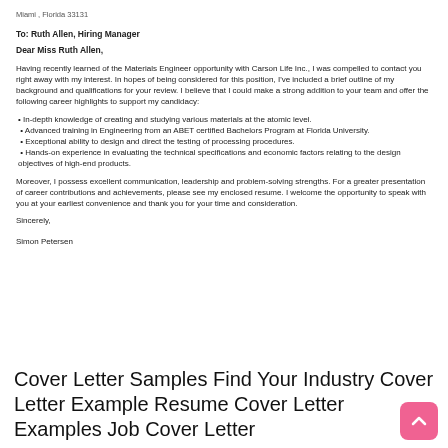Miami , Florida 33131
To: Ruth Allen, Hiring Manager
Dear Miss Ruth Allen,
Having recently learned of the Materials Engineer opportunity with Carson Life Inc., I was compelled to contact you right away with my interest. In hopes of being considered for this position, I've included a brief outline of my background and qualifications for your review. I believe that I could make a strong addition to your team and offer the following career highlights to support my candidacy:
• In-depth knowledge of creating and studying various materials at the atomic level.
• Advanced training in Engineering from an ABET certified Bachelors Program at Florida University.
• Exceptional ability to design and direct the testing of processing procedures.
• Hands-on experience in evaluating the technical specifications and economic factors relating to the design objectives of high-end products.
Moreover, I possess excellent communication, leadership and problem-solving strengths. For a greater presentation of career contributions and achievements, please see my enclosed resume. I welcome the opportunity to speak with you at your earliest convenience and thank you for your time and consideration.
Sincerely,
Simon Petersen
Cover Letter Samples Find Your Industry Cover Letter Example Resume Cover Letter Examples Job Cover Letter